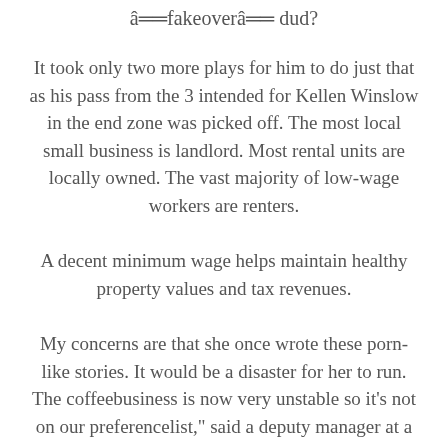â€fakeoverâ€ dud?
It took only two more plays for him to do just that as his pass from the 3 intended for Kellen Winslow in the end zone was picked off. The most local small business is landlord. Most rental units are locally owned. The vast majority of low-wage workers are renters.
A decent minimum wage helps maintain healthy property values and tax revenues.
My concerns are that she once wrote these porn-like stories. It would be a disaster for her to run. The coffeebusiness is now very unstable so it's not on our preferencelist," said a deputy manager at a major